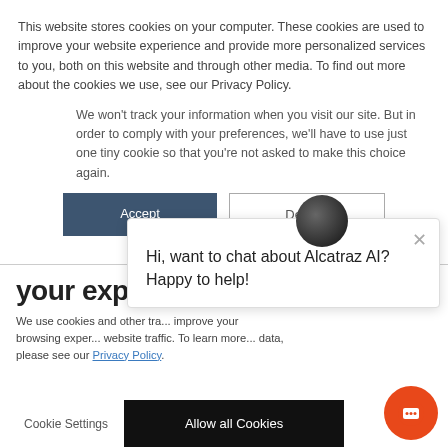This website stores cookies on your computer. These cookies are used to improve your website experience and provide more personalized services to you, both on this website and through other media. To find out more about the cookies we use, see our Privacy Policy.
We won't track your information when you visit our site. But in order to comply with your preferences, we'll have to use just one tiny cookie so that you're not asked to make this choice again.
Accept
Decline
your experience
We use cookies and other tra... improve your browsing exper... website traffic. To learn more... data, please see our Privacy Policy.
Cookie Settings
Allow all Cookies
Hi, want to chat about Alcatraz AI? Happy to help!
[Figure (illustration): Dark circular chat avatar icon]
[Figure (illustration): Orange circular chat FAB button with chat icon]